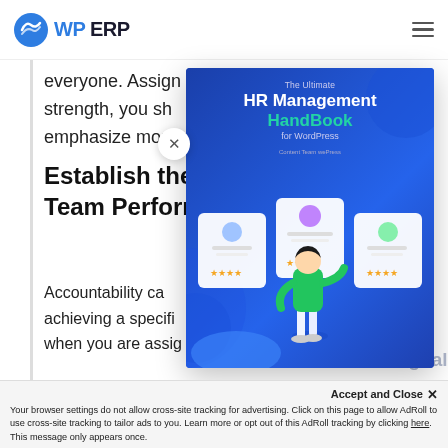WP ERP
everyone. Assign roles according to their strength, you sh... inspire them and emphasize more o...
Establish the... Team Perform...
Accountability ca... achieving a specifi... when you are assig...
are committed to...
[Figure (illustration): Popup modal showing 'The Ultimate HR Management HandBook for WordPress' book cover with blue background and HR-themed illustration of person reviewing employee profiles]
Accept and Close ×
Your browser settings do not allow cross-site tracking for advertising. Click on this page to allow AdRoll to use cross-site tracking to tailor ads to you. Learn more or opt out of this AdRoll tracking by clicking here. This message only appears once.
Want to be a Digital HR...